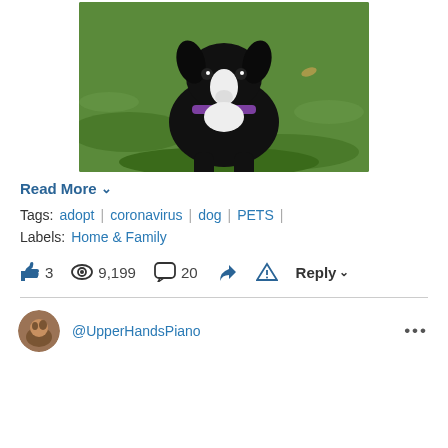[Figure (photo): Black and white dog with purple collar sitting on grass, looking at camera]
Read More ∨
Tags: adopt | coronavirus | dog | PETS |
Labels: Home & Family
👍 3   👁 9,199   💬 20   Share   ⚠   Reply ∨
@UpperHandsPiano   •••